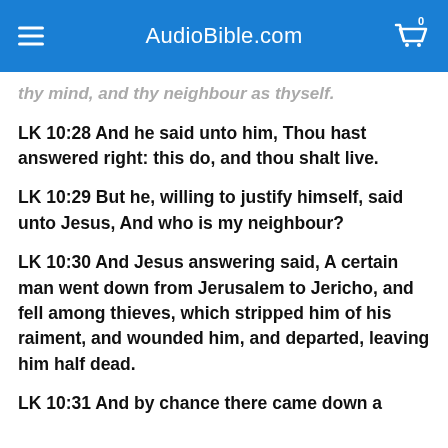AudioBible.com
thy mind, and thy neighbour as thyself.
LK 10:28 And he said unto him, Thou hast answered right: this do, and thou shalt live.
LK 10:29 But he, willing to justify himself, said unto Jesus, And who is my neighbour?
LK 10:30 And Jesus answering said, A certain man went down from Jerusalem to Jericho, and fell among thieves, which stripped him of his raiment, and wounded him, and departed, leaving him half dead.
LK 10:31 And by chance there came down a